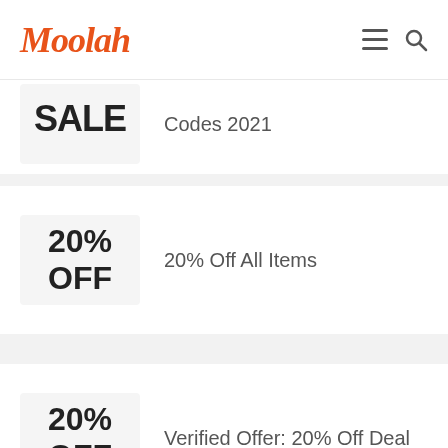Moolah
SALE Codes 2021
20% OFF — 20% Off All Items
20% OFF — Verified Offer: 20% Off Deal